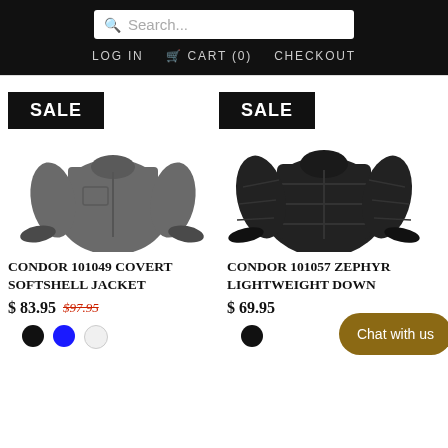Search... | LOG IN | CART (0) | CHECKOUT
[Figure (photo): Grey softshell jacket product photo with SALE badge]
[Figure (photo): Black lightweight down jacket product photo with SALE badge]
CONDOR 101049 COVERT SOFTSHELL JACKET
$ 83.95  $97.95
CONDOR 101057 ZEPHYR LIGHTWEIGHT DOWN
$ 69.95
Chat with us